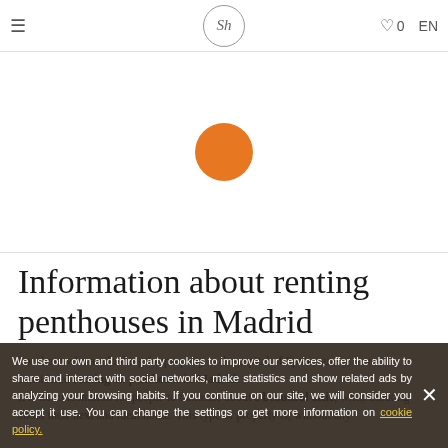≡  Sh  ♡ 0  EN
[Figure (illustration): Orange circle centered in white search/image area above main content]
Information about renting penthouses in Madrid
For those who are looking for property in the capital of Spain, surely, have considered renting a penthouse in Madrid. It is not uncommon for people to fantasize about a beautiful attic, when thinking about their next and ideal home. This type of property is, without any
We use our own and third party cookies to improve our services, offer the ability to share and interact with social networks, make statistics and show related ads by analyzing your browsing habits. If you continue on our site, we will consider you accept it use. You can change the settings or get more information on cookie policy.